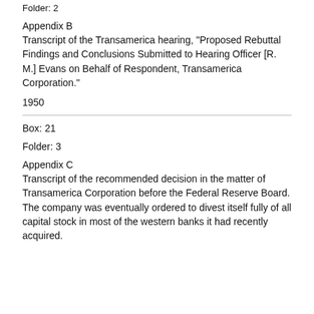Folder: 2
Appendix B
Transcript of the Transamerica hearing, "Proposed Rebuttal Findings and Conclusions Submitted to Hearing Officer [R. M.] Evans on Behalf of Respondent, Transamerica Corporation."
1950
Box: 21
Folder: 3
Appendix C
Transcript of the recommended decision in the matter of Transamerica Corporation before the Federal Reserve Board. The company was eventually ordered to divest itself fully of all capital stock in most of the western banks it had recently acquired.